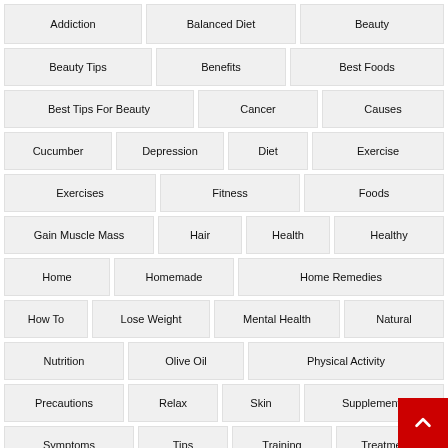Addiction
Balanced Diet
Beauty
Beauty Tips
Benefits
Best Foods
Best Tips For Beauty
Cancer
Causes
Cucumber
Depression
Diet
Exercise
Exercises
Fitness
Foods
Gain Muscle Mass
Hair
Health
Healthy
Home
Homemade
Home Remedies
How To
Lose Weight
Mental Health
Natural
Nutrition
Olive Oil
Physical Activity
Precautions
Relax
Skin
Supplements
Symptoms
Tips
Training
Treatment